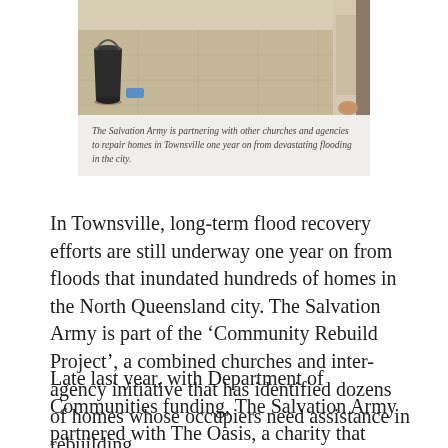[Figure (photo): Photo of a flooded/damaged home interior with a black bucket visible on the left side and light-coloured tiled floor.]
The Salvation Army is partnering with other churches and agencies to repair homes in Townsville one year on from devastating flooding in the city.
In Townsville, long-term flood recovery efforts are still underway one year on from floods that inundated hundreds of homes in the North Queensland city. The Salvation Army is part of the ‘Community Rebuild Project’, a combined churches and inter-agency initiative that has identified dozens of homes whose occupiers need assistance in rebuilding.
Late last year, with Department of Communities funding, The Salvation Army partnered with The Oasis, a charity that supports members and ex-members of the Australian Defence Force for ‘Operation Townsville Assist’. The